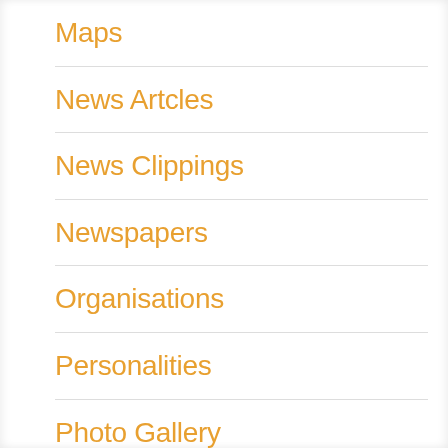Maps
News Artcles
News Clippings
Newspapers
Organisations
Personalities
Photo Gallery
Railway
Roads
Schools